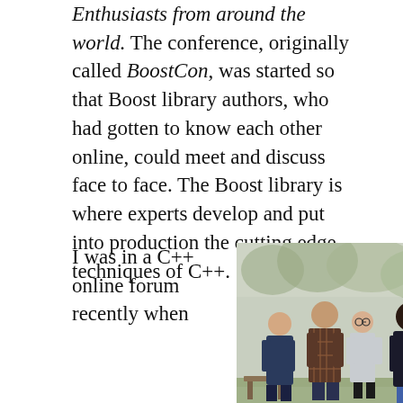Enthusiasts from around the world. The conference, originally called BoostCon, was started so that Boost library authors, who had gotten to know each other online, could meet and discuss face to face. The Boost library is where experts develop and put into production the cutting edge techniques of C++.
I was in a C++ online forum recently when I...
[Figure (photo): Outdoor photo of a group of people standing and talking in a garden or park setting. Several people are visible from behind and in profile, some holding drinks. Trees and greenery are in the background.]